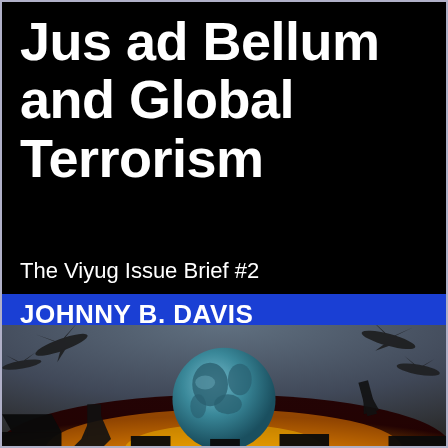Jus ad Bellum and Global Terrorism
The Viyug Issue Brief #2
JOHNNY B. DAVIS
[Figure (illustration): Book cover illustration showing a teal globe surrounded by silhouettes of military aircraft and missiles against a sky with orange fire/explosions at the bottom.]